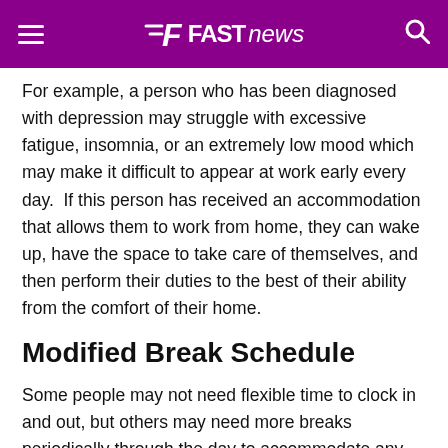FAST NEWS
For example, a person who has been diagnosed with depression may struggle with excessive fatigue, insomnia, or an extremely low mood which may make it difficult to appear at work early every day.  If this person has received an accommodation that allows them to work from home, they can wake up, have the space to take care of themselves, and then perform their duties to the best of their ability from the comfort of their home.
Modified Break Schedule
Some people may not need flexible time to clock in and out, but others may need more breaks periodically through the day to accommodate any disabilities they may have. If this is the case, a